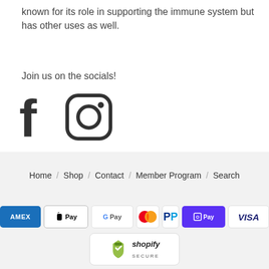known for its role in supporting the immune system but has other uses as well.
Join us on the socials!
[Figure (other): Facebook and Instagram social media icons]
Home / Shop / Contact / Member Program / Search
[Figure (other): Payment icons: Amex, Apple Pay, Google Pay, Mastercard, PayPal, Shop Pay, Visa]
[Figure (other): Shopify Secure badge]